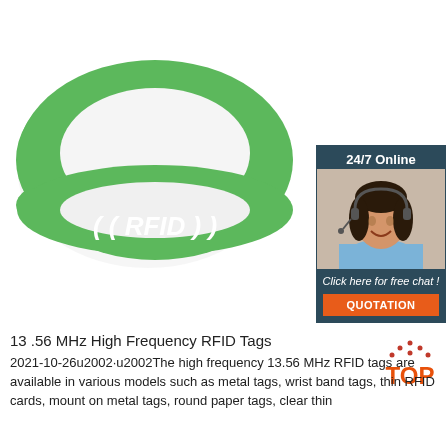[Figure (photo): Green silicone RFID wristband with white RFID logo/text in center, on white background. A customer service chat widget overlay in top-right showing '24/7 Online', a woman with headset, 'Click here for free chat!' text, and an orange QUOTATION button.]
13 .56 MHz High Frequency RFID Tags
[Figure (logo): TOP logo with orange letters and small dots forming a triangle/house shape above]
2021-10-26u2002·u2002The high frequency 13.56 MHz RFID tags are available in various models such as metal tags, wrist band tags, thin RFID cards, mount on metal tags, round paper tags, clear thin